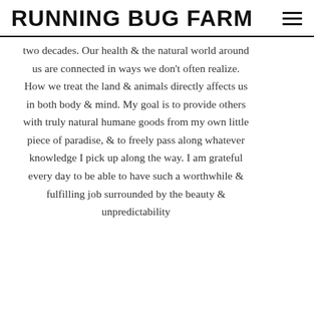RUNNING BUG FARM
two decades. Our health & the natural world around us are connected in ways we don't often realize. How we treat the land & animals directly affects us in both body & mind. My goal is to provide others with truly natural humane goods from my own little piece of paradise, & to freely pass along whatever knowledge I pick up along the way. I am grateful every day to be able to have such a worthwhile & fulfilling job surrounded by the beauty & unpredictability